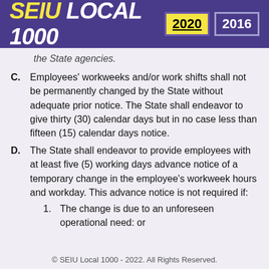SEIU LOCAL 1000  2020  2016
the State agencies.
C. Employees' workweeks and/or work shifts shall not be permanently changed by the State without adequate prior notice. The State shall endeavor to give thirty (30) calendar days but in no case less than fifteen (15) calendar days notice.
D. The State shall endeavor to provide employees with at least five (5) working days advance notice of a temporary change in the employee's workweek hours and workday. This advance notice is not required if:
1. The change is due to an unforeseen operational need: or
© SEIU Local 1000 - 2022. All Rights Reserved.